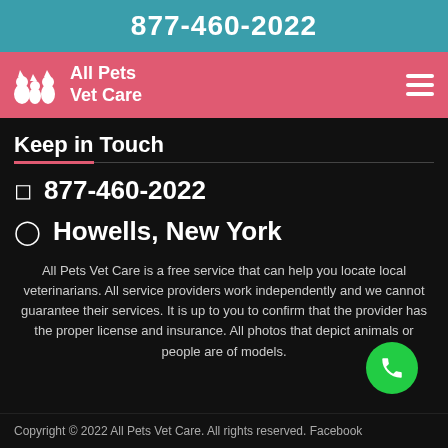877-460-2022
[Figure (logo): All Pets Vet Care logo with animal silhouettes on pink/salmon navigation bar with hamburger menu icon]
Keep in Touch
877-460-2022
Howells, New York
All Pets Vet Care is a free service that can help you locate local veterinarians. All service providers work independently and we cannot guarantee their services. It is up to you to confirm that the provider has the proper license and insurance. All photos that depict animals or people are of models.
Copyright © 2022 All Pets Vet Care. All rights reserved. Facebook